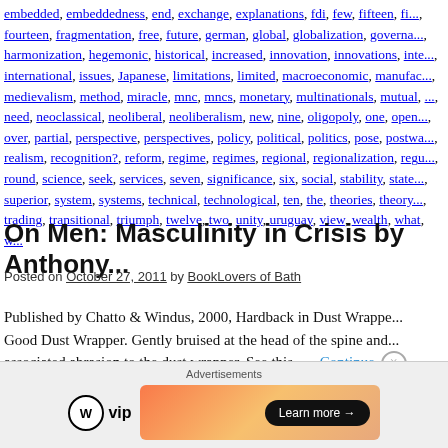embedded, embeddedness, end, exchange, explanations, fdi, few, fifteen, fi..., fourteen, fragmentation, free, future, german, global, globalization, governa..., harmonization, hegemonic, historical, increased, innovation, innovations, inte..., international, issues, Japanese, limitations, limited, macroeconomic, manufac..., medievalism, method, miracle, mnc, mncs, monetary, multinationals, mutual, ..., need, neoclassical, neoliberal, neoliberalism, new, nine, oligopoly, one, open,..., over, partial, perspective, perspectives, policy, political, politics, pose, postwa..., realism, recognition?, reform, regime, regimes, regional, regionalization, regu..., round, science, seek, services, seven, significance, six, social, stability, state,..., superior, system, systems, technical, technological, ten, the, theories, theory,..., trading, transitional, triumph, twelve, two, unity, uruguay, view, wealth, what, w...
On Men: Masculinity in Crisis by Anthony...
Posted on October 27, 2011 by BookLovers of Bath
Published by Chatto & Windus, 2000, Hardback in Dust Wrappe... Good Dust Wrapper. Gently bruised at the head of the spine and... associated abrasion to the dust wrapper. See this... Continue
[Figure (infographic): Advertisements bar with WordPress VIP logo and an orange gradient banner ad with 'Learn more' button and close button]